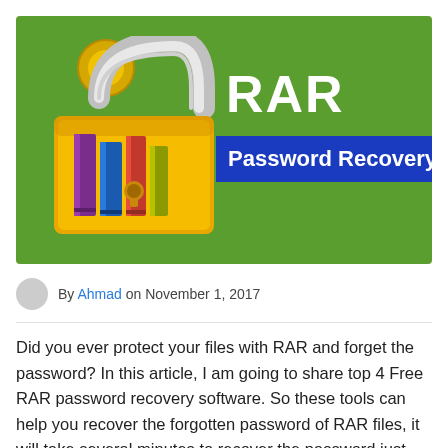[Figure (illustration): RAR Password Recovery Software banner with a gold padlock containing colorful book icons on a green background, with 'RAR' in large white text and 'Password Recovery Softw' on a blue banner strip]
By Ahmad on November 1, 2017
Did you ever protect your files with RAR and forget the password? In this article, I am going to share top 4 Free RAR password recovery software. So these tools can help you recover the forgotten password of RAR files, it will take several minutes to recover the password just patience.